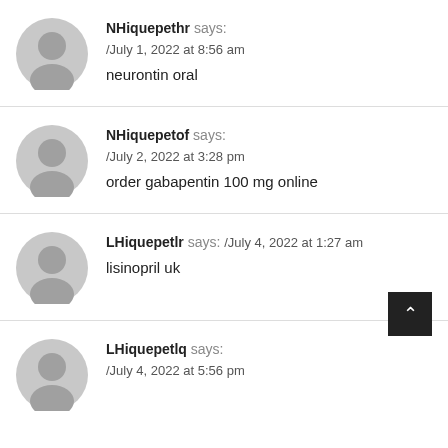[Figure (illustration): Gray default user avatar icon, circular silhouette]
NHiquepethr says: /July 1, 2022 at 8:56 am
neurontin oral
[Figure (illustration): Gray default user avatar icon, circular silhouette]
NHiquepetof says: /July 2, 2022 at 3:28 pm
order gabapentin 100 mg online
[Figure (illustration): Gray default user avatar icon, circular silhouette]
LHiquepetlr says: /July 4, 2022 at 1:27 am
lisinopril uk
[Figure (illustration): Gray default user avatar icon, circular silhouette]
LHiquepetlq says: /July 4, 2022 at 5:56 pm